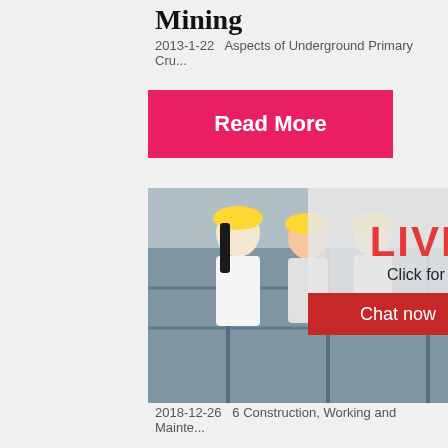Mining
2013-1-22   Aspects of Underground Primary Cru...
Read More
[Figure (photo): Live chat overlay on photo of construction workers in yellow hard hats with LIVE CHAT text, Chat now and Chat later buttons]
Construction, Working and Maint... of Crushers for ...
2018-12-26   6 Construction, Working and Mainte...
[Figure (photo): Right sidebar with orange background showing mining/crushing machine images, Enjoy 3% discount bar, Click to Chat yellow bar, Enquiry section, and limingjlmofen@sina.com contact]